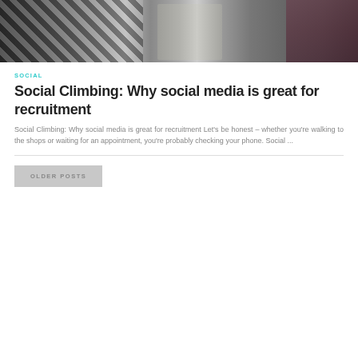[Figure (photo): Top portion of a blog post page showing a desk/office scene with striped objects, a jar with plants, and a pencil holder with stationery items]
SOCIAL
Social Climbing: Why social media is great for recruitment
Social Climbing: Why social media is great for recruitment Let's be honest – whether you're walking to the shops or waiting for an appointment, you're probably checking your phone. Social ...
OLDER POSTS